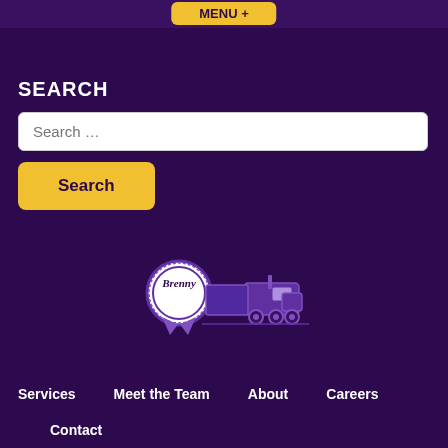MENU +
SEARCH
Search …
Search
[Figure (logo): Brenny Transportation logo with ribbon award badge and semi truck illustration in purple and white]
Services
Meet the Team
About
Careers
Contact